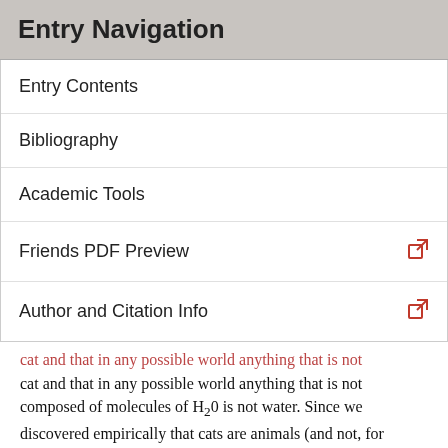Entry Navigation
Entry Contents
Bibliography
Academic Tools
Friends PDF Preview
Author and Citation Info
cat and that in any possible world anything that is not composed of molecules of H₂O is not water. Since we discovered empirically that cats are animals (and not, for example, robots) and that water is H₂O (and not some other type of molecule), each of these claims asserts a necessary a posteriori connection between two properties. In the first case, what is asserted is that it is necessary that anything that is a cat is an animal. In the second case, what is asserted is that necessarily anything that is (a sample of) water is composed of molecules of H₂O. It is natural to construe these claims on the model of the